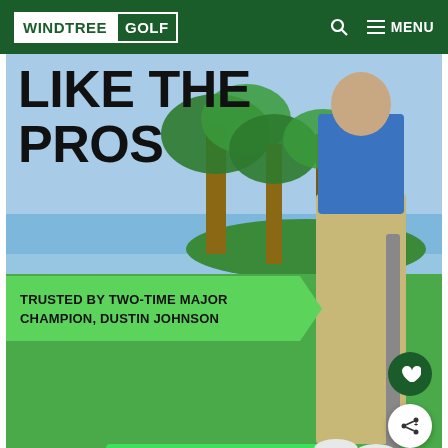WINDTREE GOLF
LIKE THE PROS
TRUSTED BY TWO-TIME MAJOR CHAMPION, DUSTIN JOHNSON
[Figure (photo): Golf professional Dustin Johnson standing on a putting green with a golf club, palm trees and water in background. A putting mat and golf balls are visible in the foreground.]
WHAT'S NEXT → Bat-Caddy Reviews: Be...
[Figure (photo): Partial view of a woman, secondary content image below the hero.]
[Figure (screenshot): Advertisement banner: SUMMER THE SUPERIOR WAY with Buy Now button and ad controls.]